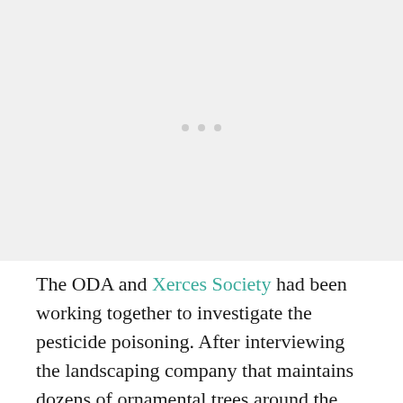[Figure (photo): Image placeholder with three dots indicating an image or photo area]
The ODA and Xerces Society had been working together to investigate the pesticide poisoning. After interviewing the landscaping company that maintains dozens of ornamental trees around the parking lot, the ODA investigators learned that Safari, a pesticide product with the active ingredient dinotefuran,